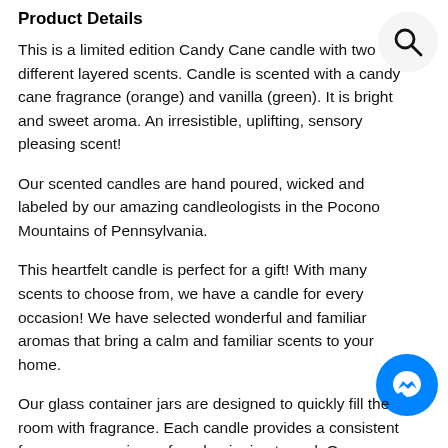Product Details
This is a limited edition Candy Cane candle with two different layered scents. Candle is scented with a candy cane fragrance (orange) and vanilla (green). It is bright and sweet aroma. An irresistible, uplifting, sensory pleasing scent!
Our scented candles are hand poured, wicked and labeled by our amazing candleologists in the Pocono Mountains of Pennsylvania.
This heartfelt candle is perfect for a gift! With many scents to choose from, we have a candle for every occasion! We have selected wonderful and familiar aromas that bring a calm and familiar scents to your home.
Our glass container jars are designed to quickly fill the room with fragrance. Each candle provides a consistent fragrance experience from beginning to end. Our premium fragrance lingers after the candle is blown out.